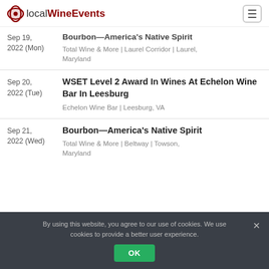localWineEvents
Sep 19, 2022 (Mon) — Bourbon—America's Native Spirit — Total Wine & More | Laurel Corridor | Laurel, Maryland
Sep 20, 2022 (Tue) — WSET Level 2 Award In Wines At Echelon Wine Bar In Leesburg — Echelon Wine Bar | Leesburg, VA
Sep 21, 2022 (Wed) — Bourbon—America's Native Spirit — Total Wine & More | Beltway | Towson, Maryland
By using this website, you agree to our use of cookies. We use cookies to provide a better user experience.